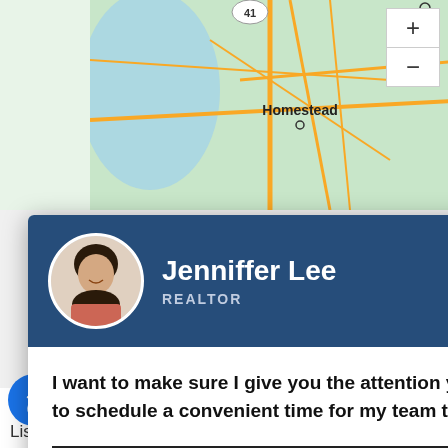[Figure (map): Road map showing Homestead area with yellow roads on green/beige background, zoom controls (+/-) on right side]
Terms of Use
ch criteria
[Figure (screenshot): Realtor contact popup modal with agent photo of Jenniffer Lee, REALTOR, with message and schedule call button]
Page 0 of 0
t relating
te for sale
o site
art from
gram of
the Regional Multiple Listing Service, Inc.
Listing content is © 2022